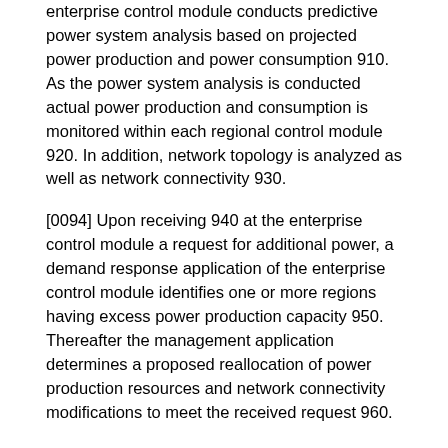enterprise control module conducts predictive power system analysis based on projected power production and power consumption 910. As the power system analysis is conducted actual power production and consumption is monitored within each regional control module 920. In addition, network topology is analyzed as well as network connectivity 930.
[0094] Upon receiving 940 at the enterprise control module a request for additional power, a demand response application of the enterprise control module identifies one or more regions having excess power production capacity 950. Thereafter the management application determines a proposed reallocation of power production resources and network connectivity modifications to meet the received request 960.
[0095] A simulation of the proposed reallocation of power production resources is initiated along with simulations of connectivity changes in the distributed grid 970. Responsive to the results of the simulation meeting predefined constraints, the control application constructs a series of commands to direct the proposed power reallocation 980.